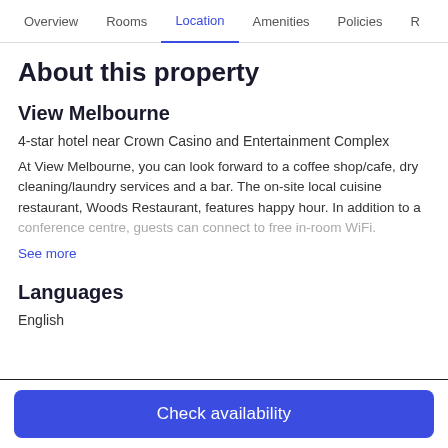Overview  Rooms  Location  Amenities  Policies  R
About this property
View Melbourne
4-star hotel near Crown Casino and Entertainment Complex
At View Melbourne, you can look forward to a coffee shop/cafe, dry cleaning/laundry services and a bar. The on-site local cuisine restaurant, Woods Restaurant, features happy hour. In addition to a conference centre, guests can connect to free in-room WiFi.
See more
Languages
English
Check availability